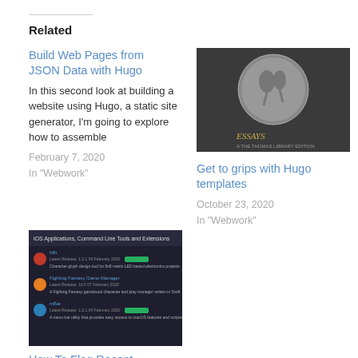Related
Build Web Pages from JSON Data with Hugo
In this second look at building a website using Hugo, a static site generator, I'm going to explore how to assemble
February 7, 2020
In "Webwork"
[Figure (photo): Dark book cover with a circular coin/medal image of classical figures, with 'ESSAYS' text in gold at the bottom]
Get to grips with Hugo templates
October 23, 2020
In "Webwork"
[Figure (screenshot): Screenshot of a dark-themed macOS applications list page showing Command Line Tools and Extensions with several app entries]
How To Flag Recent Content in Hugo
February 10, 2020
In "Webwork"